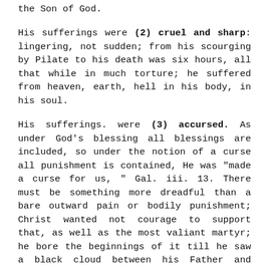the Son of God.
His sufferings were (2) cruel and sharp: lingering, not sudden; from his scourging by Pilate to his death was six hours, all that while in much torture; he suffered from heaven, earth, hell in his body, in his soul.
His sufferings. were (3) accursed. As under God's blessing all blessings are included, so under the notion of a curse all punishment is contained, He was "made a curse for us, " Gal. iii. 13. There must be something more dreadful than a bare outward pain or bodily punishment; Christ wanted not courage to support that, as well as the most valiant martyr; he bore the beginnings of it till he saw a black cloud between his Father and himself. This made him cry out, my God, my God, &c. The agonies of Christ were